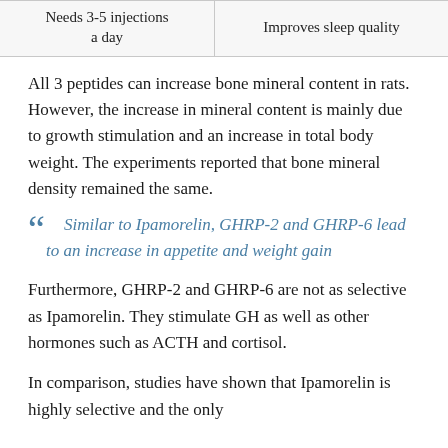| Needs 3-5 injections a day | Improves sleep quality |
All 3 peptides can increase bone mineral content in rats. However, the increase in mineral content is mainly due to growth stimulation and an increase in total body weight. The experiments reported that bone mineral density remained the same.
Similar to Ipamorelin, GHRP-2 and GHRP-6 lead to an increase in appetite and weight gain
Furthermore, GHRP-2 and GHRP-6 are not as selective as Ipamorelin. They stimulate GH as well as other hormones such as ACTH and cortisol.
In comparison, studies have shown that Ipamorelin is highly selective and the only